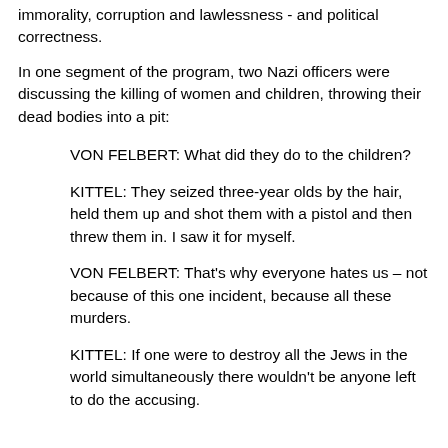immorality, corruption and lawlessness - and political correctness.
In one segment of the program, two Nazi officers were discussing the killing of women and children, throwing their dead bodies into a pit:
VON FELBERT: What did they do to the children?
KITTEL: They seized three-year olds by the hair, held them up and shot them with a pistol and then threw them in. I saw it for myself.
VON FELBERT: That’s why everyone hates us – not because of this one incident, because all these murders.
KITTEL: If one were to destroy all the Jews in the world simultaneously there wouldn’t be anyone left to do the accusing.